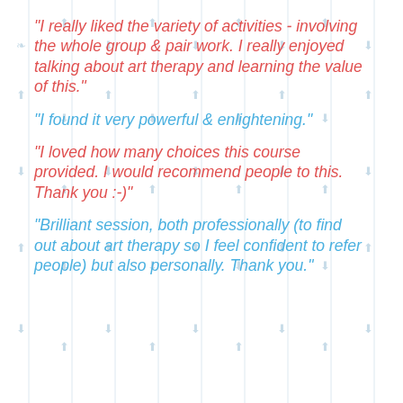"I really liked the variety of activities - involving the whole group & pair work. I really enjoyed talking about art therapy and learning the value of this."
"I found it very powerful & enlightening."
"I loved how many choices this course provided. I would recommend people to this. Thank you :-)"
"Brilliant session, both professionally (to find out about art therapy so I feel confident to refer people) but also personally. Thank you."